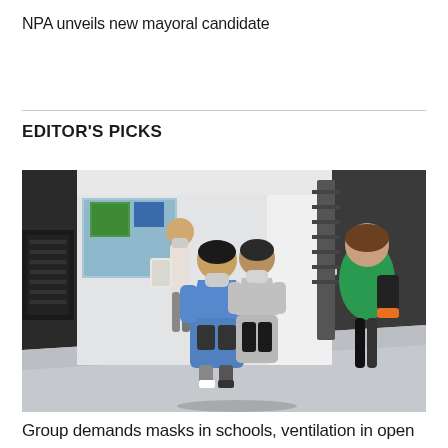NPA unveils new mayoral candidate
EDITOR'S PICKS
[Figure (photo): Students wearing face masks walking through a school hallway. Two students in blue and grey hoodies walk toward the camera in the centre, another student walks away in a green top on the right, and another student is visible walking in the background on the left.]
Group demands masks in schools, ventilation in open